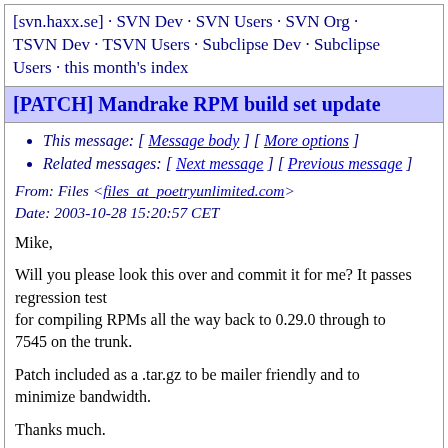[svn.haxx.se] · SVN Dev · SVN Users · SVN Org · TSVN Dev · TSVN Users · Subclipse Dev · Subclipse Users · this month's index
[PATCH] Mandrake RPM build set update
This message: [ Message body ] [ More options ]
Related messages: [ Next message ] [ Previous message ]
From: Files <files_at_poetryunlimited.com>
Date: 2003-10-28 15:20:57 CET
Mike,
Will you please look this over and commit it for me? It passes regression test
for compiling RPMs all the way back to 0.29.0 through to 7545 on the trunk.
Patch included as a .tar.gz to be mailer friendly and to minimize bandwidth.
Thanks much.